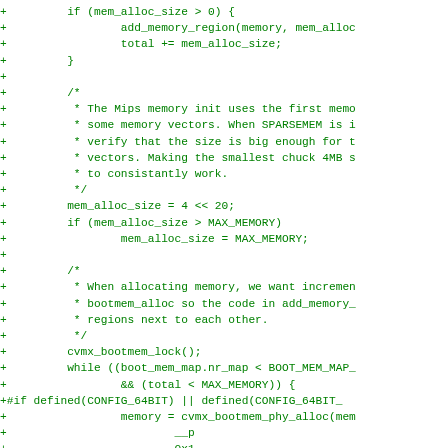[Figure (other): Source code diff snippet in C showing memory allocation logic with green-colored added lines (prefixed with +), including conditional checks, memory region additions, comment blocks, and preprocessor directives.]